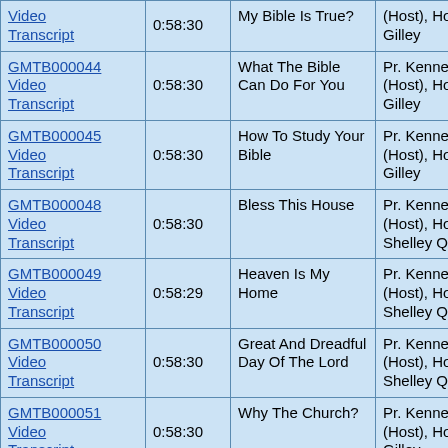| ID/Links | Duration | Title | Host |
| --- | --- | --- | --- |
| (Video Transcript) | 0:58:30 | My Bible Is True? | (Host), Host: Jim Gilley |
| GMTB000044 Video Transcript | 0:58:30 | What The Bible Can Do For You | Pr. Kenneth Cox (Host), Host: Jim Gilley |
| GMTB000045 Video Transcript | 0:58:30 | How To Study Your Bible | Pr. Kenneth Cox (Host), Host: Jim Gilley |
| GMTB000048 Video Transcript | 0:58:30 | Bless This House | Pr. Kenneth Cox (Host), Host: Shelley Quinn |
| GMTB000049 Video Transcript | 0:58:29 | Heaven Is My Home | Pr. Kenneth Cox (Host), Host: Shelley Quinn |
| GMTB000050 Video Transcript | 0:58:30 | Great And Dreadful Day Of The Lord | Pr. Kenneth Cox (Host), Host: Shelley Quinn |
| GMTB000051 Video Transcript | 0:58:30 | Why The Church? | Pr. Kenneth Cox (Host), Host: Jim Gilley |
| GMTB000052 | ... | ... | Pr. Kenneth Cox |